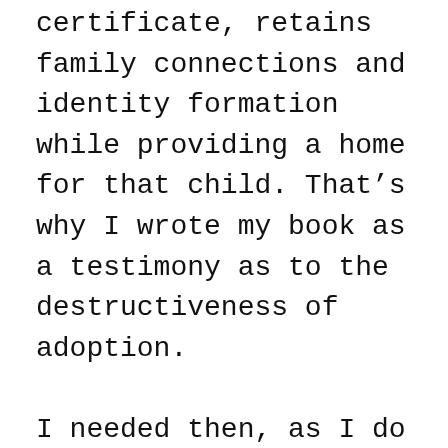certificate, retains family connections and identity formation while providing a home for that child. That's why I wrote my book as a testimony as to the destructiveness of adoption.

I needed then, as I do now, unconditional access to my sealed and certified real birth certificate. I also need my amended birth certificate stamped in big red